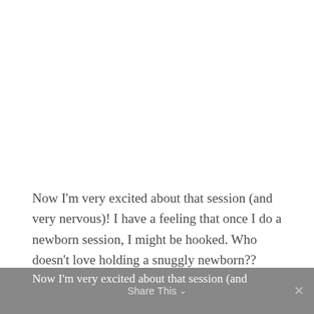Now I'm very excited about that session (and very nervous)! I have a feeling that once I do a newborn session, I might be hooked. Who doesn't love holding a snuggly newborn??
Now I'm very excited about that session (and   Share This ∨   ✕